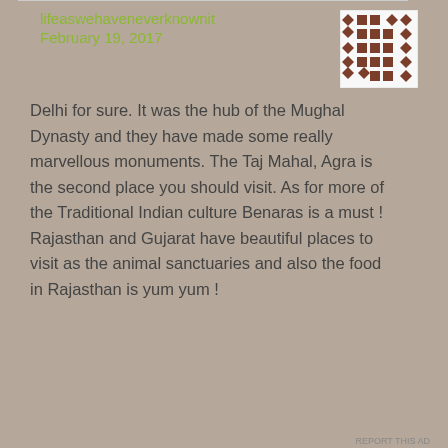lifeaswehaveneverknownit
February 19, 2017
[Figure (other): Avatar/profile image: a decorative geometric pattern with brown/dark red diamond and square shapes on white background]
Delhi for sure. It was the hub of the Mughal Dynasty and they have made some really marvellous monuments. The Taj Mahal, Agra is the second place you should visit. As for more of the Traditional Indian culture Benaras is a must ! Rajasthan and Gujarat have beautiful places to visit as the animal sanctuaries and also the food in Rajasthan is yum yum ! These five places are a must when you visit
Advertisements
[Figure (screenshot): DuckDuckGo advertisement banner on orange background. Text reads: Search, browse, and email with more privacy. All in One Free App. Shows a phone graphic with DuckDuckGo app icon and logo.]